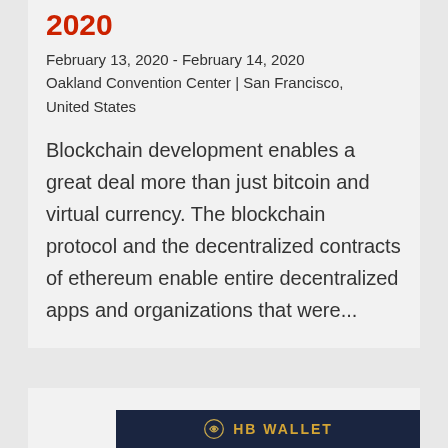2020
February 13, 2020 - February 14, 2020
Oakland Convention Center | San Francisco, United States
Blockchain development enables a great deal more than just bitcoin and virtual currency. The blockchain protocol and the decentralized contracts of ethereum enable entire decentralized apps and organizations that were...
[Figure (photo): HB Wallet banner/logo on dark navy background with gold text and icon]